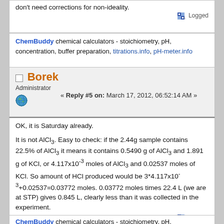don't need corrections for non-ideality.
Logged
ChemBuddy chemical calculators - stoichiometry, pH, concentration, buffer preparation, titrations.info, pH-meter.info
Borek
Administrator
« Reply #5 on: March 17, 2012, 06:52:14 AM »
OK, it is Saturday already.

It is not AlCl3. Easy to check: if the 2.44g sample contains 22.5% of AlCl3 it means it contains 0.5490 g of AlCl3 and 1.891 g of KCl, or 4.117x10^-3 moles of AlCl3 and 0.02537 moles of KCl. So amount of HCl produced would be 3*4.117x10^-3+0.02537=0.03772 moles. 0.03772 moles times 22.4 L (we are at STP) gives 0.845 L, clearly less than it was collected in the experiment.
Logged
ChemBuddy chemical calculators - stoichiometry, pH, concentration,